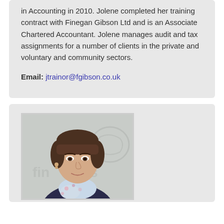in Accounting in 2010. Jolene completed her training contract with Finegan Gibson Ltd and is an Associate Chartered Accountant. Jolene manages audit and tax assignments for a number of clients in the private and voluntary and community sectors.
Email: jtrainor@fgibson.co.uk
[Figure (photo): Professional portrait photo of a woman with dark hair and bangs, wearing a floral scarf and dark jacket, standing in front of a wall with Finegan Gibson logo/branding.]